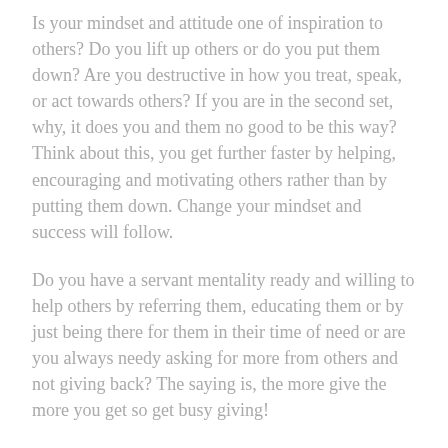Is your mindset and attitude one of inspiration to others?  Do you lift up others or do you put them down?  Are you destructive in how you treat, speak, or act towards others?  If you are in the second set, why, it does you and them no good to be this way?  Think about this, you get further faster by helping, encouraging and motivating others rather than by putting them down.  Change your mindset and success will follow.
Do you have a servant mentality ready and willing to help others by referring them, educating them or by just being there for them in their time of need or are you always needy asking for more from others and not giving back?  The saying is, the more give the more you get so get busy giving!
Is your attitude one of positivity, creativity and innovation that motivates others to achieve more or are you angry, close minded and negative ready to snap at anyone you encounter?  Take the time to think before you act, what